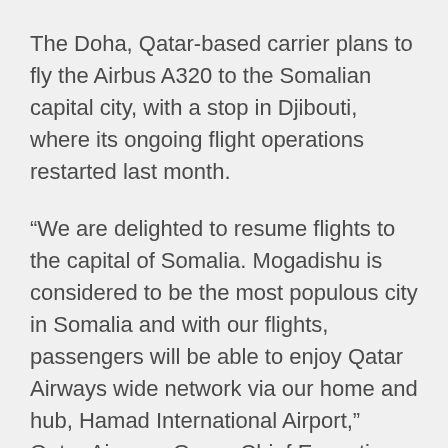The Doha, Qatar-based carrier plans to fly the Airbus A320 to the Somalian capital city, with a stop in Djibouti, where its ongoing flight operations restarted last month.
“We are delighted to resume flights to the capital of Somalia. Mogadishu is considered to be the most populous city in Somalia and with our flights, passengers will be able to enjoy Qatar Airways wide network via our home and hub, Hamad International Airport,” Qatar Airways Group Chief Executive Akbar Al Baker said.